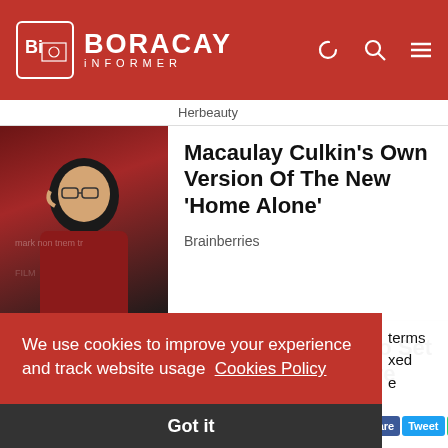Boracay Informer
Herbeauty
Macaulay Culkin's Own Version Of The New ‘Home Alone’
Brainberries
Plus-Size Girls Who Set The Catwalk On Fire
Brainberries
We use cookies to improve your experience and track website usage Cookies Policy
Got it